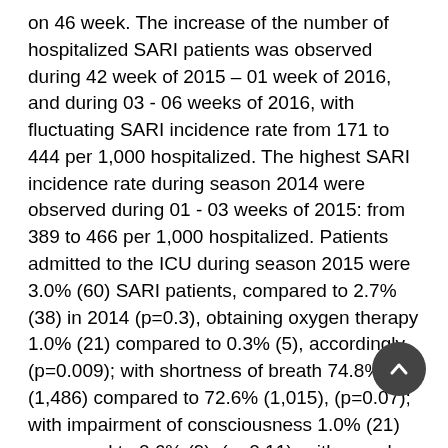on 46 week. The increase of the number of hospitalized SARI patients was observed during 42 week of 2015 – 01 week of 2016, and during 03 - 06 weeks of 2016, with fluctuating SARI incidence rate from 171 to 444 per 1,000 hospitalized. The highest SARI incidence rate during season 2014 were observed during 01 - 03 weeks of 2015: from 389 to 466 per 1,000 hospitalized. Patients admitted to the ICU during season 2015 were 3.0% (60) SARI patients, compared to 2.7% (38) in 2014 (p=0.3), obtaining oxygen therapy 1.0% (21) compared to 0.3% (5), accordingly, (p=0.009); with shortness of breath 74.8% (1,486) compared to 72.6% (1,015), (p=0.07); with impairment of consciousness 1.0% (21) compared to 0.6% (9), (p=0.11); with muscle pain 19.3% (384) compared to 13.6% (191), (p < 0.001); with joint pain 13.3% (265) compared to 9.3% (131), (p < 0.001). During season 2015 the prevailing subtype of